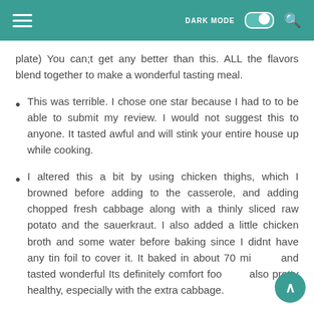DARK MODE [toggle] [search]
plate) You can;t get any better than this. ALL the flavors blend together to make a wonderful tasting meal.
This was terrible. I chose one star because I had to to be able to submit my review. I would not suggest this to anyone. It tasted awful and will stink your entire house up while cooking.
I altered this a bit by using chicken thighs, which I browned before adding to the casserole, and adding chopped fresh cabbage along with a thinly sliced raw potato and the sauerkraut. I also added a little chicken broth and some water before baking since I didnt have any tin foil to cover it. It baked in about 70 minutes and tasted wonderful Its definitely comfort food but also pretty healthy, especially with the extra cabbage.